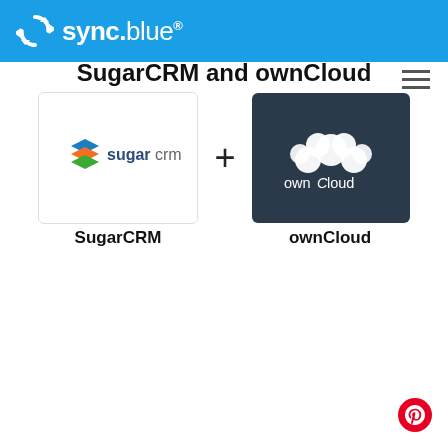sync.blue®
[Figure (logo): SugarCRM logo — stacked colored layers icon with text 'sugarcrm' in dark blue and orange]
[Figure (logo): ownCloud logo — white cloud of circles on dark navy background with text 'ownCloud']
SugarCRM
ownCloud
Sync contacts between SugarCRM and ownCloud